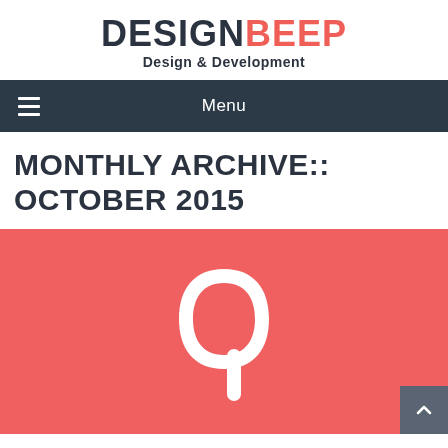DESIGNBEEP Design & Development
Menu
MONTHLY ARCHIVE:: OCTOBER 2015
[Figure (illustration): Salmon/coral red background with a large white letter Q icon centered, and a dark grey scroll-to-top button at bottom right]